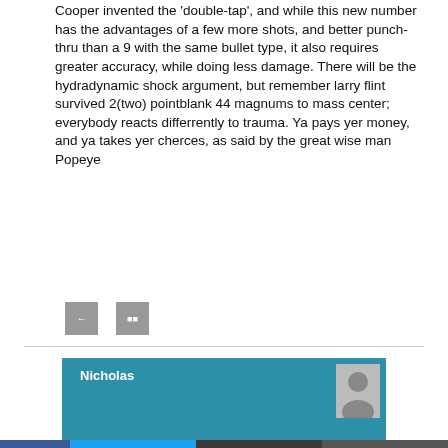Cooper invented the 'double-tap', and while this new number has the advantages of a few more shots, and better punch-thru than a 9 with the same bullet type, it also requires greater accuracy, while doing less damage. There will be the hydradynamic shock argument, but remember larry flint survived 2(two) pointblank 44 magnums to mass center; everybody reacts differrently to trauma. Ya pays yer money, and ya takes yer cherces, as said by the great wise man Popeye
[Figure (other): Two small grey social/action icon buttons]
[Figure (other): Author section with teal background showing name 'Nicholas' and a grey avatar placeholder, with social sharing bar below (Facebook, Twitter, Reddit, Email)]